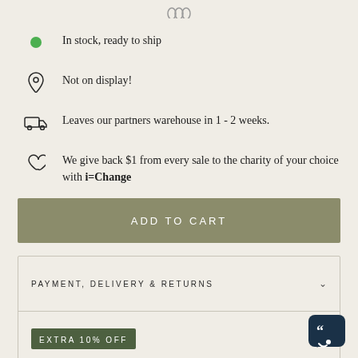[Figure (other): Top strip with partial icons (payment/social icons partially visible)]
In stock, ready to ship
Not on display!
Leaves our partners warehouse in 1 - 2 weeks.
We give back $1 from every sale to the charity of your choice with i=Change
ADD TO CART
PAYMENT, DELIVERY & RETURNS
EXTRA 10% OFF
FINISH & CARE
UNDERSTANDING YOUR LEAD TIME
REVIEWS